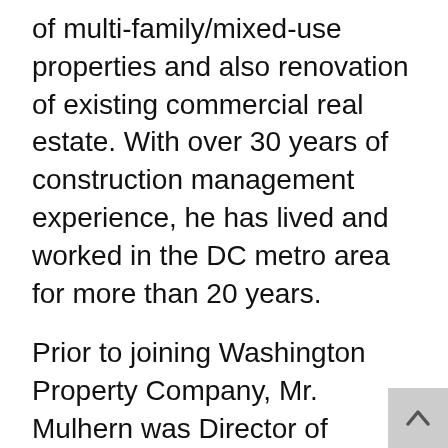of multi-family/mixed-use properties and also renovation of existing commercial real estate. With over 30 years of construction management experience, he has lived and worked in the DC metro area for more than 20 years.
Prior to joining Washington Property Company, Mr. Mulhern was Director of Construction for a national construction company focused on military and federal campus renovation projects. He has also worked as Project Manager for one of the oldest DC development and construction companies. In addition to several years in